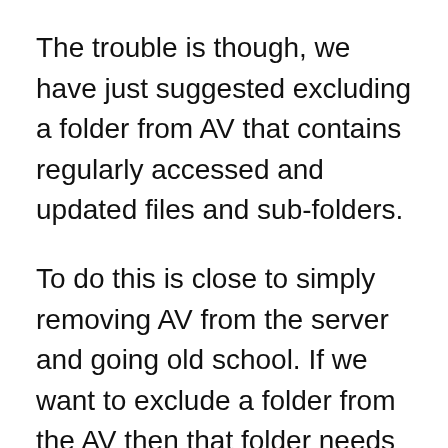The trouble is though, we have just suggested excluding a folder from AV that contains regularly accessed and updated files and sub-folders.
To do this is close to simply removing AV from the server and going old school. If we want to exclude a folder from the AV then that folder needs isolation and we need to make sure that the benefit of the exclusion outweighs the risks.
One solution (that I don’t know is possible in this case) would be to make SQL sever write